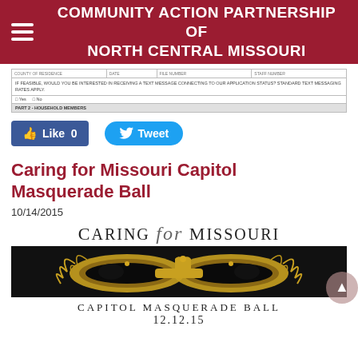COMMUNITY ACTION PARTNERSHIP OF NORTH CENTRAL MISSOURI
[Figure (table-as-image): Partial view of a form with rows including checkboxes for text message interest and PART 2 - HOUSEHOLD MEMBERS section]
[Figure (screenshot): Facebook Like button showing 0 likes and Twitter Tweet button]
Caring for Missouri Capitol Masquerade Ball
10/14/2015
[Figure (illustration): Caring for Missouri Capitol Masquerade Ball event logo with decorative masquerade mask in gold on black band, text reads CAPITOL MASQUERADE BALL 12.12.15]